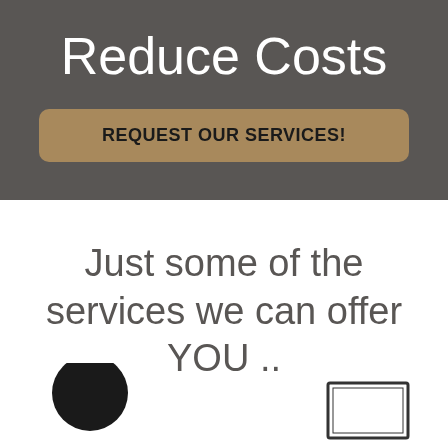Reduce Costs
REQUEST OUR SERVICES!
Just some of the services we can offer YOU ..
[Figure (illustration): Partial view of a person icon (head/shoulders in black) at bottom left and a monitor/computer screen icon at bottom right]